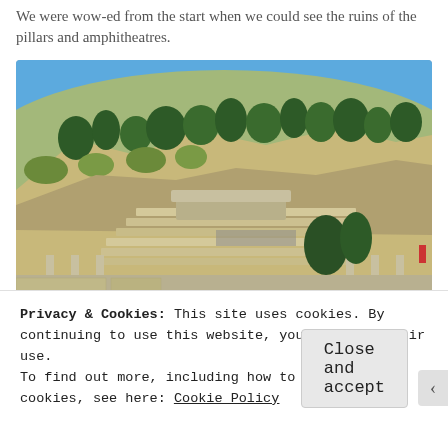We were wow-ed from the start when we could see the ruins of the pillars and amphitheatres.
[Figure (photo): Outdoor photo of ancient ruins — Roman amphitheatre with stone seating tiers set into a hillside covered with trees and dry scrub, with columns and stone foundations in the foreground, tourists visible on the steps, blue sky above.]
Privacy & Cookies: This site uses cookies. By continuing to use this website, you agree to their use.
To find out more, including how to control cookies, see here: Cookie Policy
Close and accept